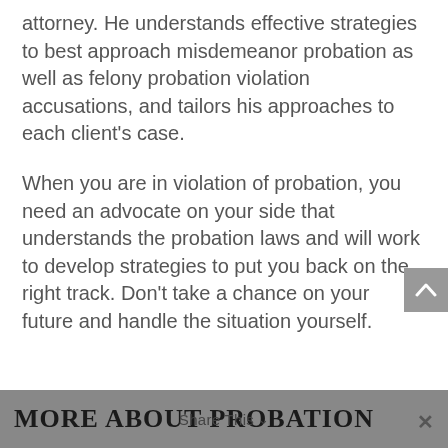attorney. He understands effective strategies to best approach misdemeanor probation as well as felony probation violation accusations, and tailors his approaches to each client's case.
When you are in violation of probation, you need an advocate on your side that understands the probation laws and will work to develop strategies to put you back on the right track. Don't take a chance on your future and handle the situation yourself.
MORE ABOUT PROBATION